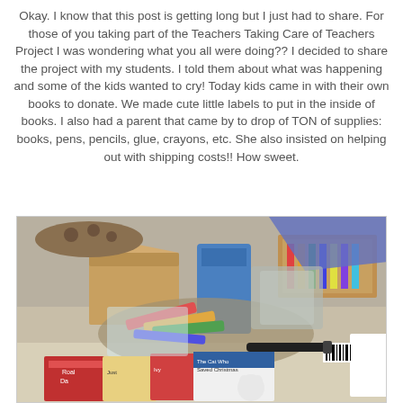Okay. I know that this post is getting long but I just had to share. For those of you taking part of the Teachers Taking Care of Teachers Project I was wondering what you all were doing?? I decided to share the project with my students. I told them about what was happening and some of the kids wanted to cry! Today kids came in with their own books to donate. We made cute little labels to put in the inside of books. I also had a parent that came by to drop of TON of supplies: books, pens, pencils, glue, crayons, etc. She also insisted on helping out with shipping costs!! How sweet.
[Figure (photo): A pile of donated school supplies including books, pens, pencils, crayons, glue, and other materials on a table, shown in a photograph.]